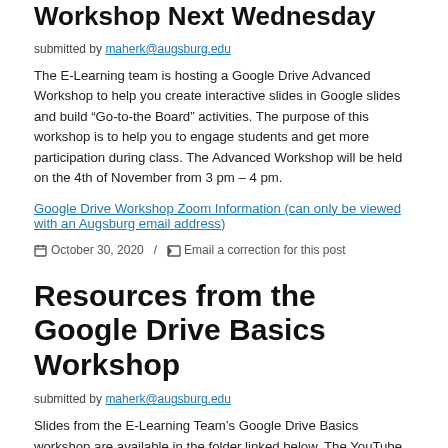Workshop Next Wednesday
submitted by maherk@augsburg.edu
The E-Learning team is hosting a Google Drive Advanced Workshop to help you create interactive slides in Google slides and build “Go-to-the Board” activities. The purpose of this workshop is to help you to engage students and get more participation during class. The Advanced Workshop will be held on the 4th of November from 3 pm – 4 pm.
Google Drive Workshop Zoom Information (can only be viewed with an Augsburg email address)
October 30, 2020 / Email a correction for this post
Resources from the Google Drive Basics Workshop
submitted by maherk@augsburg.edu
Slides from the E-Learning Team’s Google Drive Basics workshop are available in the folder linked below. The YouTube video can be